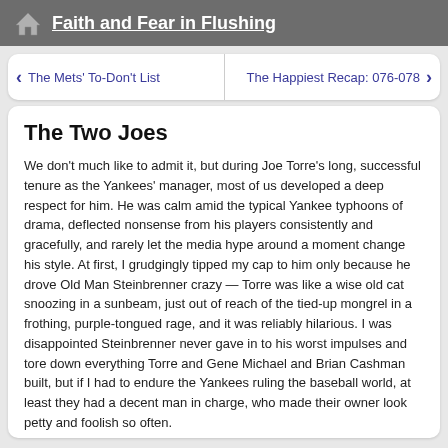Faith and Fear in Flushing
< The Mets' To-Don't List    The Happiest Recap: 076-078 >
The Two Joes
We don't much like to admit it, but during Joe Torre's long, successful tenure as the Yankees' manager, most of us developed a deep respect for him. He was calm amid the typical Yankee typhoons of drama, deflected nonsense from his players consistently and gracefully, and rarely let the media hype around a moment change his style. At first, I grudgingly tipped my cap to him only because he drove Old Man Steinbrenner crazy — Torre was like a wise old cat snoozing in a sunbeam, just out of reach of the tied-up mongrel in a frothing, purple-tongued rage, and it was reliably hilarious. I was disappointed Steinbrenner never gave in to his worst impulses and tore down everything Torre and Gene Michael and Brian Cashman built, but if I had to endure the Yankees ruling the baseball world, at least they had a decent man in charge, who made their owner look petty and foolish so often.
Honestly, it's like that with an annoying number of the Yankees — I find them irritatingly hard to loathe as players and people, and so have to hate them as proxies for their legions of braying, self-entitled fans. As human